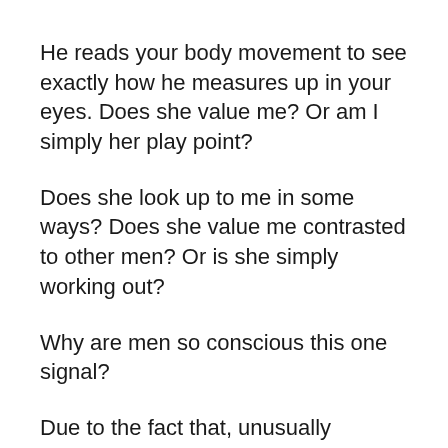He reads your body movement to see exactly how he measures up in your eyes. Does she value me? Or am I simply her play point?
Does she look up to me in some ways? Does she value me contrasted to other men? Or is she simply working out?
Why are men so conscious this one signal?
Due to the fact that, unusually enough, this signal tells him exactly how you compare him to other men. So it influences just how he really feels regarding himself whenever he’s around you.